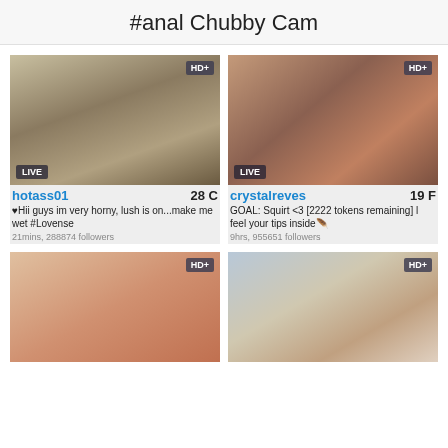#anal Chubby Cam
[Figure (photo): Webcam thumbnail of hotass01, LIVE badge, HD+ badge]
[Figure (photo): Webcam thumbnail of crystalreves, LIVE badge, HD+ badge]
hotass01    28 C
♥Hii guys im very horny, lush is on...make me wet #Lovense
21mins, 288874 followers
crystalreves    19 F
GOAL: Squirt <3 [2222 tokens remaining] l feel your tips inside🫦
9hrs, 955651 followers
[Figure (photo): Webcam thumbnail, HD+ badge, bottom row left]
[Figure (photo): Webcam thumbnail, HD+ badge, bottom row right]